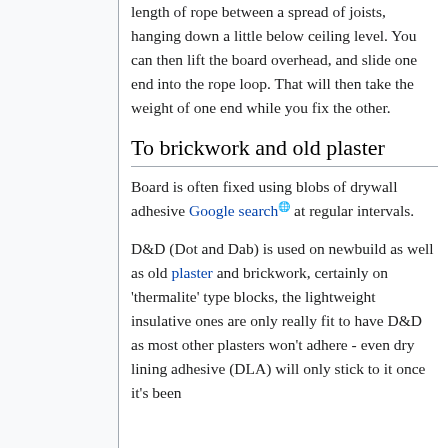length of rope between a spread of joists, hanging down a little below ceiling level. You can then lift the board overhead, and slide one end into the rope loop. That will then take the weight of one end while you fix the other.
To brickwork and old plaster
Board is often fixed using blobs of drywall adhesive Google search at regular intervals.
D&D (Dot and Dab) is used on newbuild as well as old plaster and brickwork, certainly on 'thermalite' type blocks, the lightweight insulative ones are only really fit to have D&D as most other plasters won't adhere - even dry lining adhesive (DLA) will only stick to it once it's been